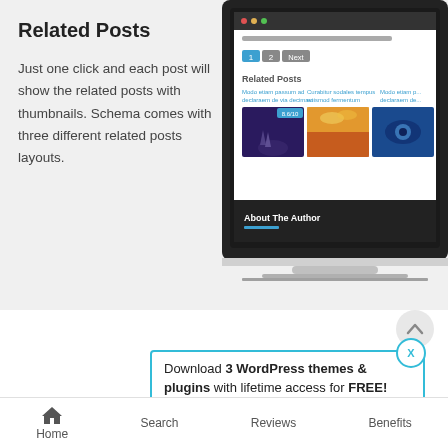Related Posts
Just one click and each post will show the related posts with thumbnails. Schema comes with three different related posts layouts.
[Figure (screenshot): Laptop screen showing a blog website with Related Posts section featuring post thumbnails and 'About The Author' section at bottom.]
[Figure (infographic): Promotional popup: blue circle with cloud download icon, border box with text 'Download 3 WordPress themes & plugins with lifetime access for FREE!' and 'Click here to Join' link. X close button top right.]
Download 3 WordPress themes & plugins with lifetime access for FREE!
Click here to Join
Home  Search  Reviews  Benefits